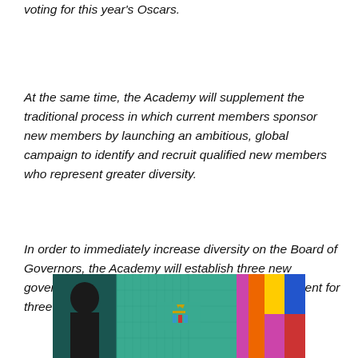voting for this year's Oscars.
At the same time, the Academy will supplement the traditional process in which current members sponsor new members by launching an ambitious, global campaign to identify and recruit qualified new members who represent greater diversity.
In order to immediately increase diversity on the Board of Governors, the Academy will establish three new governor seats that will be nominated by the President for three-year terms and confirmed by the Board.
[Figure (photo): A colorful image at the bottom of the page, appearing to show a person in dark clothing on the left side and a Cadillac logo in the center, with colorful decorative elements on the right side.]